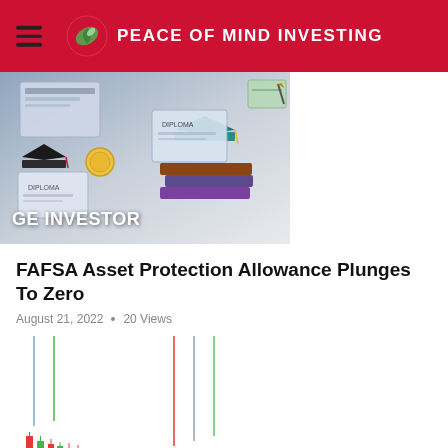PEACE OF MIND INVESTING
[Figure (illustration): Illustration showing academic diplomas, graduation caps, books, and coins on a grey background with text overlay 'GE INVESTOR']
FAFSA Asset Protection Allowance Plunges To Zero
August 21, 2022 · 20 Views
[Figure (other): Partial candlestick chart showing red and green candlesticks with thin wicks, trending downward]